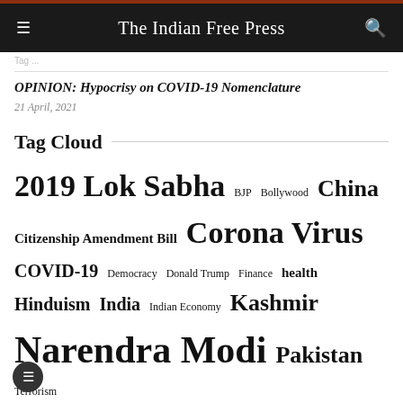The Indian Free Press
OPINION: Hypocrisy on COVID-19 Nomenclature
21 April, 2021
Tag Cloud
2019 Lok Sabha
BJP
Bollywood
China
Citizenship Amendment Bill
Corona Virus
COVID-19
Democracy
Donald Trump
Finance
health
Hinduism
India
Indian Economy
Kashmir
Narendra Modi
Pakistan
Terrorism
USA
US Elections